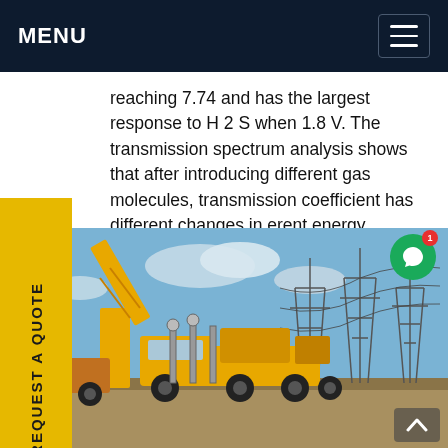MENU
reaching 7.74 and has the largest response to H 2 S when 1.8 V. The transmission spectrum analysis shows that after introducing different gas molecules, transmission coefficient has different changes in erent energy ranges.Get price
[Figure (photo): Yellow utility trucks and crane vehicles at an electrical substation with high-voltage transmission towers against a blue sky.]